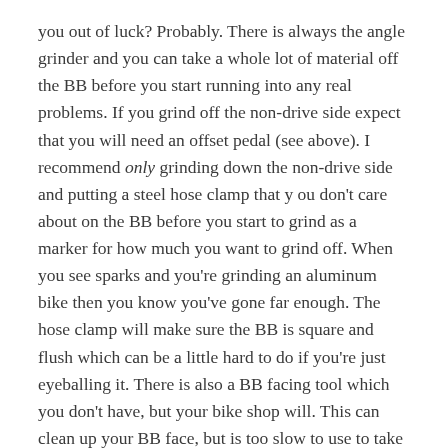you out of luck? Probably. There is always the angle grinder and you can take a whole lot of material off the BB before you start running into any real problems. If you grind off the non-drive side expect that you will need an offset pedal (see above). I recommend only grinding down the non-drive side and putting a steel hose clamp that y ou don't care about on the BB before you start to grind as a marker for how much you want to grind off. When you see sparks and you're grinding an aluminum bike then you know you've gone far enough. The hose clamp will make sure the BB is square and flush which can be a little hard to do if you're just eyeballing it. There is also a BB facing tool which you don't have, but your bike shop will. This can clean up your BB face, but is too slow to use to take any real meat off.
Do not ever try to modify the chainstay on your bike. This is a bad idea and can lead to nothing good. I know I'm a funny guy, but I'm really not being funny here. *serious face*